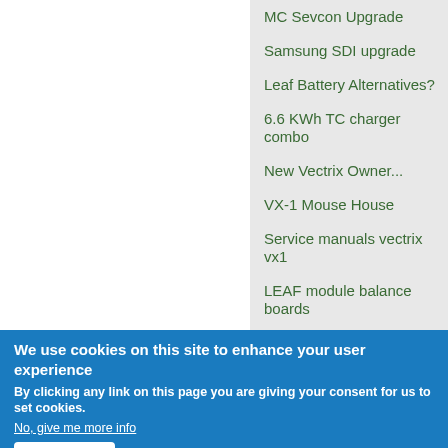MC Sevcon Upgrade
Samsung SDI upgrade
Leaf Battery Alternatives?
6.6 KWh TC charger combo
New Vectrix Owner...
VX-1 Mouse House
Service manuals vectrix vx1
LEAF module balance boards
Razor E300 battery and testing!
New BMS fully compatible with Vectrix
Vectrix App for Android. OBDII connection.
We use cookies on this site to enhance your user experience
By clicking any link on this page you are giving your consent for us to set cookies.
No, give me more info
OK, I agree